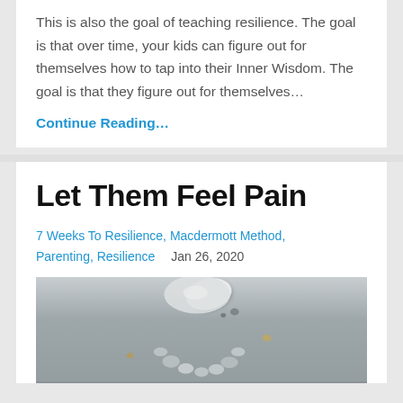This is also the goal of teaching resilience. The goal is that over time, your kids can figure out for themselves how to tap into their Inner Wisdom. The goal is that they figure out for themselves…
Continue Reading…
Let Them Feel Pain
7 Weeks To Resilience, Macdermott Method, Parenting, Resilience    Jan 26, 2020
[Figure (photo): Photo of pebbles and stones arranged on a sandy beach, with a large white smooth stone at the top and smaller grey and white stones arranged in a circular or heart shape below.]